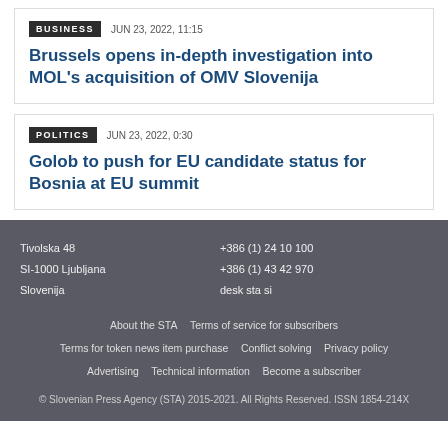BUSINESS  JUN 23, 2022, 11:15
Brussels opens in-depth investigation into MOL's acquisition of OMV Slovenija
POLITICS  JUN 23, 2022, 0:30
Golob to push for EU candidate status for Bosnia at EU summit
Tivolska 48
SI-1000 Ljubljana
Slovenija
+386 (1) 24 10 100
+386 (1) 43 42 970
desk sta si
About the STA   Terms of service for subscribers
Terms for token news item purchase   Conflict solving   Privacy policy
Advertising   Technical information   Become a subscriber
© Slovenian Press Agency (STA) 2015-2021. All Rights Reserved. ISSN 1854-214X